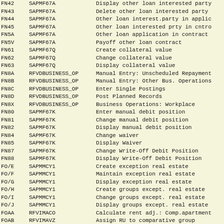| Code | Program | Description |
| --- | --- | --- |
| FN42 | SAPMF67A | Display other loan interested party |
| FN43 | SAPMF67A | Delete other loan interested party |
| FN44 | SAPMF67A | Other loan interest.party in applic |
| FN45 | SAPMF67A | Other loan interested prty in cntro |
| FN5A | SAPMF67A | Other loan application in contract |
| FN5V | SAPMF67A | Payoff other loan contract |
| FN61 | SAPMF67Q | Create collateral value |
| FN62 | SAPMF67Q | Change collateral value |
| FN63 | SAPMF67Q | Display collateral value |
| FN8A | RFVDBUSINESS_OP | Manual Entry: Unscheduled Repayment |
| FN8B | RFVDBUSINESS_OP | Manual Entry: Other Bus. Operations |
| FN8C | RFVDBUSINESS_OP | Enter Single Postings |
| FN8D | RFVDBUSINESS_OP | Post Planned Records |
| FN8X | RFVDBUSINESS_OP | Business Operations: Workplace |
| FN80 | SAPMF67K | Enter manual debit position |
| FN81 | SAPMF67K | Change manual debit position |
| FN82 | SAPMF67K | Display manual debit position |
| FN84 | SAPMF67K | Change waiver |
| FN85 | SAPMF67K | Display Waiver |
| FN87 | SAPMF67K | Change Write-Off Debit Position |
| FN88 | SAPMF67K | Display Write-Off Debit Position |
| FO/E | SAPMMCY1 | Create exception real estate |
| FO/F | SAPMMCY1 | Maintain exception real estate |
| FO/G | SAPMMCY1 | Display exception real estate |
| FO/H | SAPMMCY1 | Create groups except. real estate |
| FO/I | SAPMMCY1 | Change groups except. real estate |
| FO/J | SAPMMCY1 | Display groups except. real estate |
| FOAA | RFVIMACO | Calculate rent adj.: Comp.apartment |
| FOAB | RFVIMAVZ | Assign RU to comparative group |
| FOABG | RFVIRECNAD0 | General contract accrual/deferral |